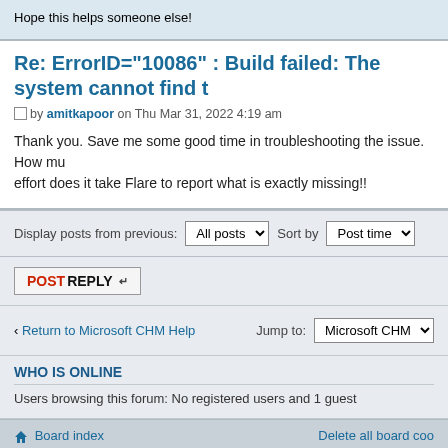Hope this helps someone else!
Re: ErrorID="10086" : Build failed: The system cannot find t
by amitkapoor on Thu Mar 31, 2022 4:19 am
Thank you. Save me some good time in troubleshooting the issue. How much effort does it take Flare to report what is exactly missing!!
Display posts from previous: All posts  Sort by  Post time
POSTREPLY
Return to Microsoft CHM Help   Jump to: Microsoft CHM
WHO IS ONLINE
Users browsing this forum: No registered users and 1 guest
Board index   Delete all board coo
Powered by phpBB